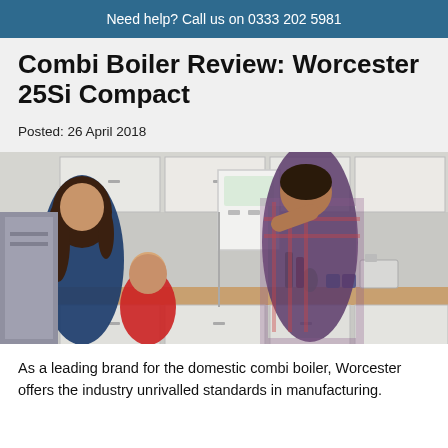Need help? Call us on 0333 202 5981
Combi Boiler Review: Worcester 25Si Compact
Posted: 26 April 2018
[Figure (photo): A family in a kitchen — a woman and child at the counter, a man in a plaid shirt adjusting a Worcester combi boiler mounted on the wall, with white cupboards and kitchen items in the background.]
As a leading brand for the domestic combi boiler, Worcester offers the industry unrivalled standards in manufacturing.